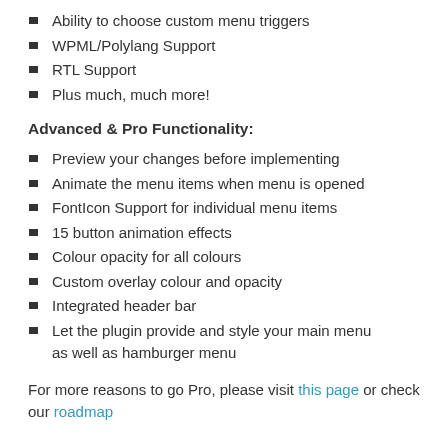Ability to choose custom menu triggers
WPML/Polylang Support
RTL Support
Plus much, much more!
Advanced & Pro Functionality:
Preview your changes before implementing
Animate the menu items when menu is opened
FontIcon Support for individual menu items
15 button animation effects
Colour opacity for all colours
Custom overlay colour and opacity
Integrated header bar
Let the plugin provide and style your main menu as well as hamburger menu
For more reasons to go Pro, please visit this page or check our roadmap